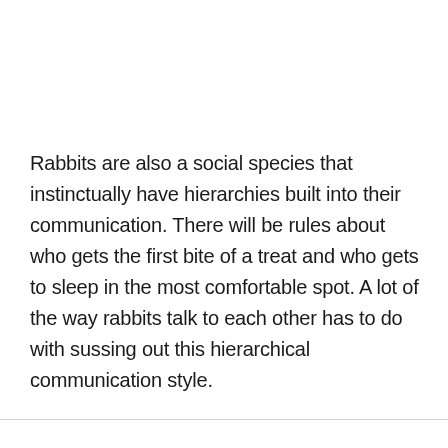Rabbits are also a social species that instinctually have hierarchies built into their communication. There will be rules about who gets the first bite of a treat and who gets to sleep in the most comfortable spot. A lot of the way rabbits talk to each other has to do with sussing out this hierarchical communication style.